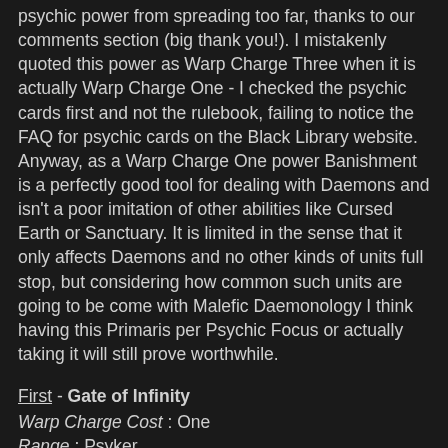psychic power from spreading too far, thanks to our comments section (big thank you!). I mistakenly quoted this power as Warp Charge Three when it is actually Warp Charge One - I checked the psychic cards first and not the rulebook, failing to notice the FAQ for psychic cards on the Black Library website. Anyway, as a Warp Charge One power Banishment is a perfectly good tool for dealing with Daemons and isn't a poor imitation of other abilities like Cursed Earth or Sanctuary. It is limited in the sense that it only affects Daemons and no other kinds of units full stop, but considering how common such units are going to be come with Malefic Daemonology I think having this Primaris per Psychic Focus or actually taking it will still prove worthwhile.
First - Gate of Infinity
Warp Charge Cost : One
Range : Psyker
Type : Blessing
Effect : The Psyker and any attached unit are removed from the table and immediately re-enter the battlefield via the rules for Deep Strike reserves. A note that Zooming or